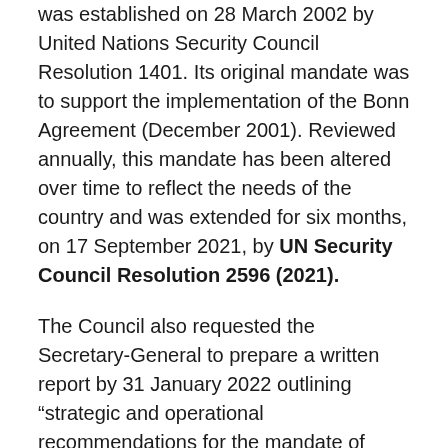was established on 28 March 2002 by United Nations Security Council Resolution 1401. Its original mandate was to support the implementation of the Bonn Agreement (December 2001). Reviewed annually, this mandate has been altered over time to reflect the needs of the country and was extended for six months, on 17 September 2021, by UN Security Council Resolution 2596 (2021).
The Council also requested the Secretary-General to prepare a written report by 31 January 2022 outlining "strategic and operational recommendations for the mandate of UNAMA in light of recent political, security, and social developments" in Afghanistan.
UNAMA is headed by the Special Representative of the Secretary-General (SRSG) for Afghanistan